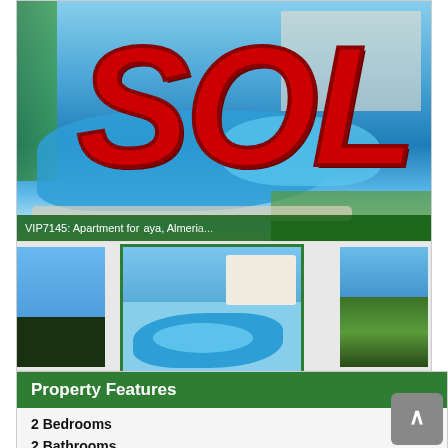[Figure (photo): Large main photo of apartment complex with swimming pool, overlaid with red bold 'SOL' text stamp and green caption bar reading 'VIP7145: Apartment fo... aya, Almeri...']
VIP7145: Apartment fo...aya, Almeri...
[Figure (photo): Thumbnail row: left thumbnail showing sea/sky/trees, center thumbnail with green border showing pool and white buildings, right thumbnail showing trees and sea view]
Property Features
2 Bedrooms
2 Bathrooms
77m² / 829 ft² Build Size
97m² / 1,044 ft² Plot Size
Communal Pool
Community Fees: 72€ per Month